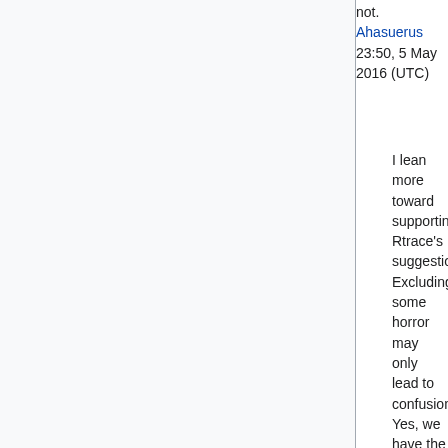not. Ahasuerus 23:50, 5 May 2016 (UTC)
I lean more toward supporting Rtrace's suggestion. Excluding some horror may only lead to confusion. Yes, we have the policy page we can point to, but most people aren't